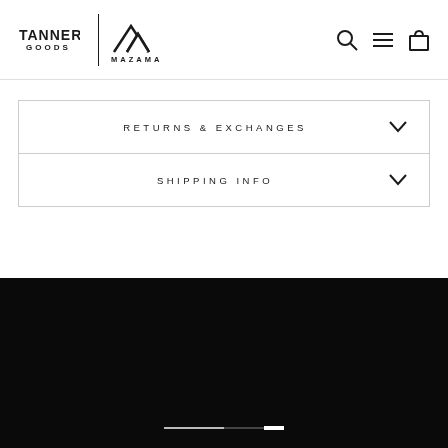[Figure (logo): Tanner Goods and Mazama combined logo with navigation icons (search, menu, bag)]
RETURNS & EXCHANGES
SHIPPING INFO
[Figure (other): Dark/black footer section with a progress or scroll indicator bar]